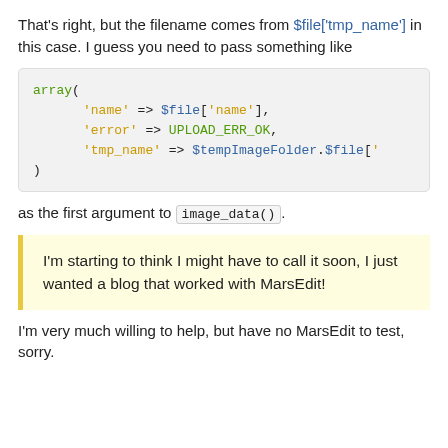That's right, but the filename comes from $file['tmp_name'] in this case. I guess you need to pass something like
array(
    'name' => $file['name'],
    'error' => UPLOAD_ERR_OK,
    'tmp_name' => $tempImageFolder.$file['
)
as the first argument to image_data().
I'm starting to think I might have to call it soon, I just wanted a blog that worked with MarsEdit!
I'm very much willing to help, but have no MarsEdit to test, sorry.